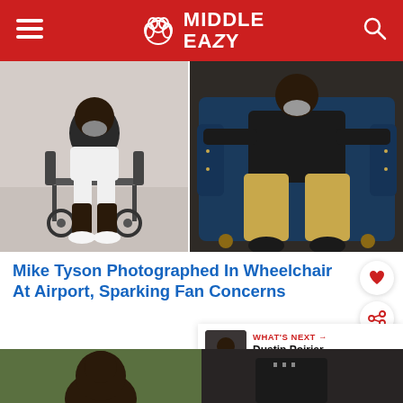Middle Easy
[Figure (photo): Two photos side by side: left shows Mike Tyson in a wheelchair at an airport wearing white shorts and white sneakers; right shows a man relaxing in a blue leather armchair wearing a black shirt, khaki pants, and black boots.]
Mike Tyson Photographed In Wheelchair At Airport, Sparking Fan Concerns
WHAT'S NEXT → Dustin Poirier Coach...
[Figure (photo): Bottom strip showing two partial photos: left appears to be a person's head/shoulder, right appears to be another person with a blurred background.]